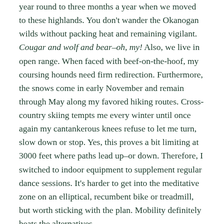year round to three months a year when we moved to these highlands. You don't wander the Okanogan wilds without packing heat and remaining vigilant. Cougar and wolf and bear–oh, my! Also, we live in open range. When faced with beef-on-the-hoof, my coursing hounds need firm redirection. Furthermore, the snows come in early November and remain through May along my favored hiking routes. Cross-country skiing tempts me every winter until once again my cantankerous knees refuse to let me turn, slow down or stop. Yes, this proves a bit limiting at 3000 feet where paths lead up–or down. Therefore, I switched to indoor equipment to supplement regular dance sessions. It's harder to get into the meditative zone on an elliptical, recumbent bike or treadmill, but worth sticking with the plan. Mobility definitely beats the alternatives.
What emphatically has not worked for me? Life in a very old fifth-wheel with two hounds, two young cats, and a newly